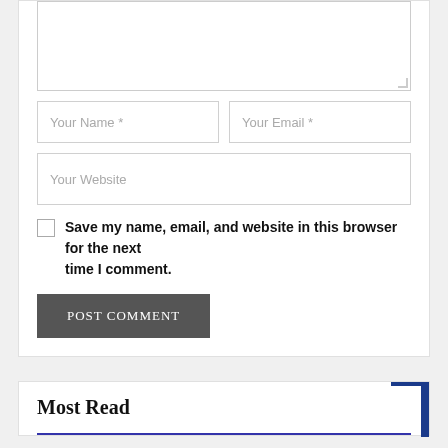[Figure (screenshot): Comment form with textarea (partially visible at top), Your Name and Your Email input fields side by side, Your Website input field, a checkbox with label 'Save my name, email, and website in this browser for the next time I comment.', and a POST COMMENT button.]
Most Read